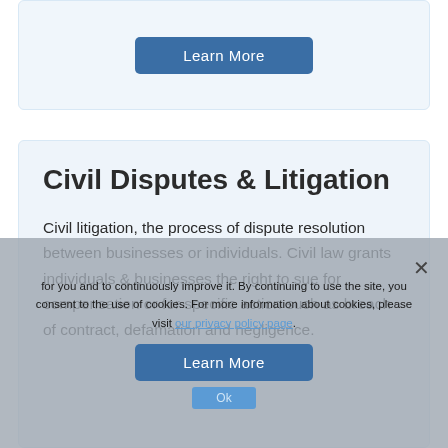[Figure (other): Top card with a 'Learn More' button on a light blue background]
Civil Disputes & Litigation
Civil litigation, the process of dispute resolution between businesses or individuals. Civil law grants individuals & businesses the right to sue for compensation or for specific action such as breach of contract, defamation and negligence.
...for you and to continuously improve it. By continuing to use the site, you consent to the use of cookies. For more information about cookies, please visit our privacy policy page.
Learn More
Ok